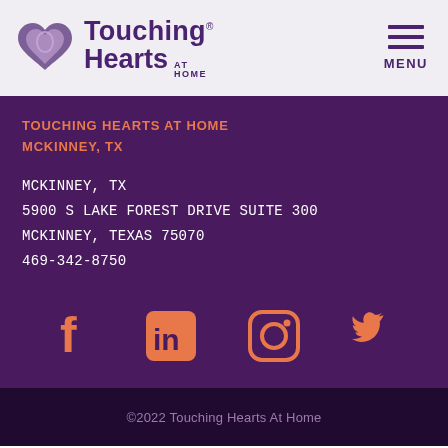[Figure (logo): Touching Hearts At Home logo with stylized double heart icon and company name in purple]
MENU
TOUCHING HEARTS AT HOME
MCKINNEY, TX
MCKINNEY, TX
5900 S LAKE FOREST DRIVE SUITE 300
MCKINNEY, TEXAS 75070
469-342-8750
[Figure (illustration): Social media icons row: Facebook, LinkedIn, Instagram, Twitter — all in orange/salmon color on dark purple background]
©2022 Touching Hearts At Home